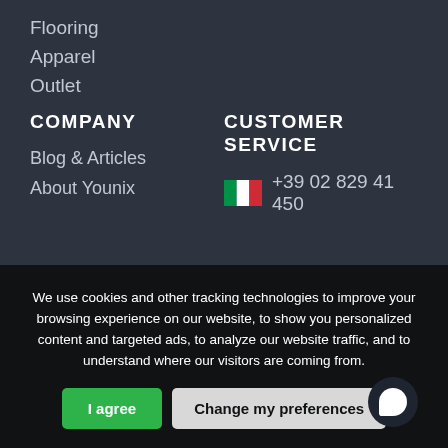Flooring
Apparel
Outlet
COMPANY
CUSTOMER SERVICE
Blog & Articles
About Younix
+39 02 829 41 450
We use cookies and other tracking technologies to improve your browsing experience on our website, to show you personalized content and targeted ads, to analyze our website traffic, and to understand where our visitors are coming from.
I agree
Change my preferences